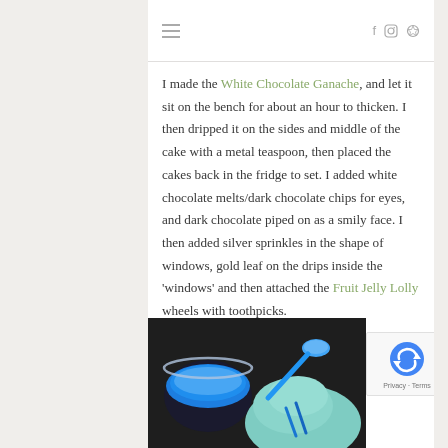≡   f  ☷  ℗
I made the White Chocolate Ganache, and let it sit on the bench for about an hour to thicken. I then dripped it on the sides and middle of the cake with a metal teaspoon, then placed the cakes back in the fridge to set. I added white chocolate melts/dark chocolate chips for eyes, and dark chocolate piped on as a smily face. I then added silver sprinkles in the shape of windows, gold leaf on the drips inside the 'windows' and then attached the Fruit Jelly Lolly wheels with toothpicks.
[Figure (photo): Close-up photo of blue jelly/liquid in a glass bowl and a blue spoon with mint-colored frosting or cream, on a dark background.]